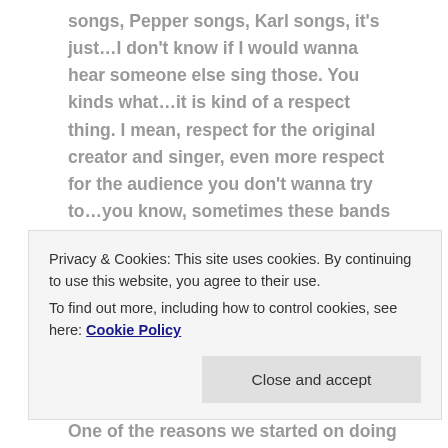songs, Pepper songs, Karl songs, it's just…I don't know if I would wanna hear someone else sing those. You kinds what…it is kind of a respect thing. I mean, respect for the original creator and singer, even more respect for the audience you don't wanna try to…you know, sometimes these bands are like an ongoing circus they bring in members, then they kick 'em out, and live they try to grind out the hits, or whatever, but it's not quite the same, you know, someone else besides Ian Gillan singing 'Highway Star'
Privacy & Cookies: This site uses cookies. By continuing to use this website, you agree to their use.
To find out more, including how to control cookies, see here: Cookie Policy
Close and accept
One of the reasons we started on doing an